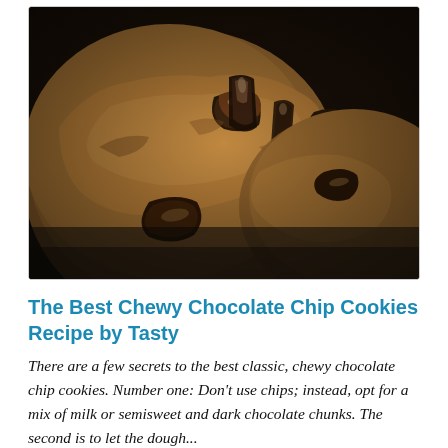[Figure (photo): Close-up photo of large chewy chocolate chip cookies with melted dark chocolate chunks visible, placed on a white plate, warm golden-brown color]
The Best Chewy Chocolate Chip Cookies Recipe by Tasty
There are a few secrets to the best classic, chewy chocolate chip cookies. Number one: Don't use chips; instead, opt for a mix of milk or semisweet and dark chocolate chunks. The second is to let the dough...